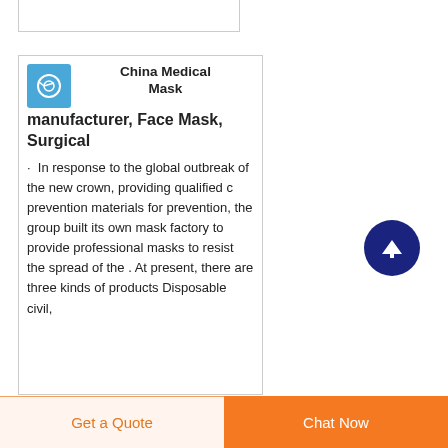China Medical Mask manufacturer, Face Mask, Surgical
· In response to the global outbreak of the new crown, providing qualified c prevention materials for prevention, the group built its own mask factory to provide professional masks to resist the spread of the . At present, there are three kinds of products Disposable civil,
[Figure (logo): Blue square icon with circular medical/mask graphic in white]
Get a Quote
Chat Now